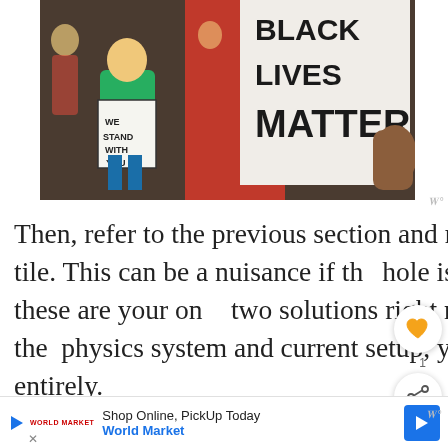[Figure (illustration): Painting depicting protest scene with 'Black Lives Matter' sign and 'We Stand With You' sign held by figures]
Then, refer to the previous section and replace that hole with a floor tile. This can be a nuisance if the hole isn't in a useful area. But, these are your only two solutions right now. Unfortunately, with the physics system and current setup, you can't replace ground tiles entirely.
Replace Missing Tiles With Walls
One of is